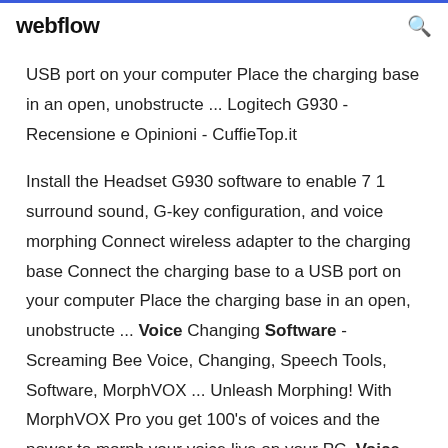webflow
USB port on your computer Place the charging base in an open, unobstructe ... Logitech G930 - Recensione e Opinioni - CuffieTop.it
Install the Headset G930 software to enable 7 1 surround sound, G-key configuration, and voice morphing Connect wireless adapter to the charging base Connect the charging base to a USB port on your computer Place the charging base in an open, unobstructe ... Voice Changing Software - Screaming Bee Voice, Changing, Speech Tools, Software, MorphVOX ... Unleash Morphing! With MorphVOX Pro you get 100's of voices and the power to morph your voice live on your PC. Voice Morphing Software - Furry